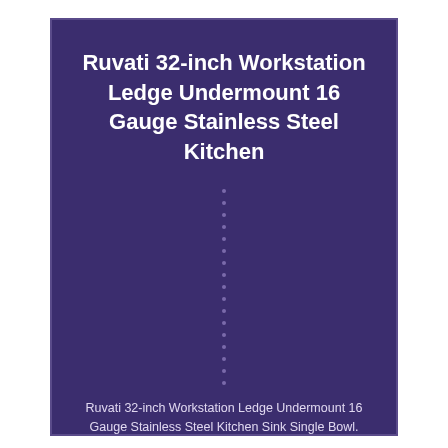Ruvati 32-inch Workstation Ledge Undermount 16 Gauge Stainless Steel Kitchen
Ruvati 32-inch Workstation Ledge Undermount 16 Gauge Stainless Steel Kitchen Sink Single Bowl. Workstation sink: Ledges on the front and back provide a track for the included accessories. 16 GAUGE Premium T-304 Grade...